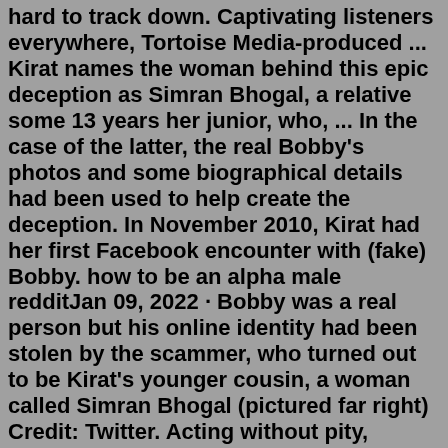hard to track down. Captivating listeners everywhere, Tortoise Media-produced ... Kirat names the woman behind this epic deception as Simran Bhogal, a relative some 13 years her junior, who, ... In the case of the latter, the real Bobby's photos and some biographical details had been used to help create the deception. In November 2010, Kirat had her first Facebook encounter with (fake) Bobby. how to be an alpha male redditJan 09, 2022 · Bobby was a real person but his online identity had been stolen by the scammer, who turned out to be Kirat's younger cousin, a woman called Simran Bhogal (pictured far right) Credit: Twitter. Acting without pity, someone Kirat trusted drew her into a web of lies, leaving her jobless, friendless and on the brink of madness. Jan 10, 2022 · 6. Sweet Bobby. Reddit Theories That Are Compelling & Completely Wild. Including some ideas on why Simran Bhogal is so hard to track down. Captivating listeners everywhere, Tortoise Media-produced ... Jan 24, 2022 · In episode six of Sweet Bobby, Kirat did give a loose idea of what Simran